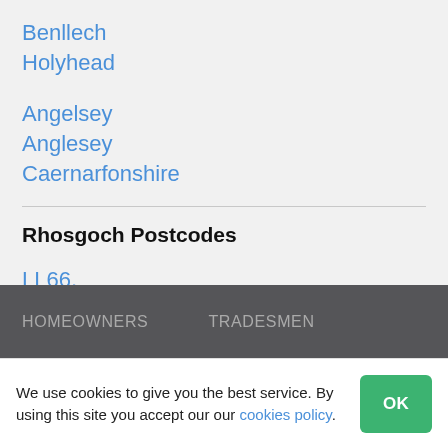Benllech
Holyhead
Angelsey
Anglesey
Caernarfonshire
Rhosgoch Postcodes
LL66,
HOMEOWNERS   TRADESMEN
We use cookies to give you the best service. By using this site you accept our our cookies policy.